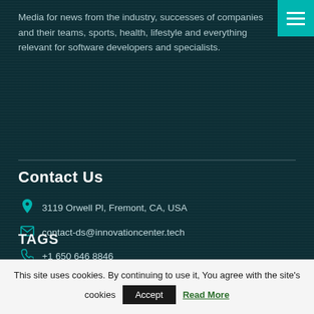Media for news from the industry, successes of companies and their teams, sports, health, lifestyle and everything relevant for software developers and specialists.
Contact Us
3119 Orwell Pl, Fremont, CA, USA
contact-ds@innovationcenter.tech
+1 650 646 8846
TAGS
This site uses cookies. By continuing to use it, You agree with the site's cookies  Accept  Read More